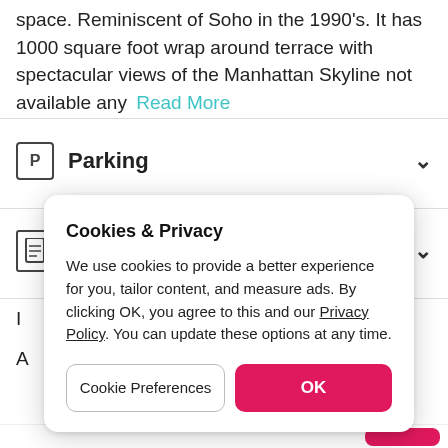space. Reminiscent of Soho in the 1990's. It has 1000 square foot wrap around terrace with spectacular views of the Manhattan Skyline not available any   Read More
Parking
Host rules
[Figure (screenshot): Cookie consent modal dialog with title 'Cookies & Privacy', body text about cookie usage and privacy policy, and two buttons: 'Cookie Preferences' and 'OK']